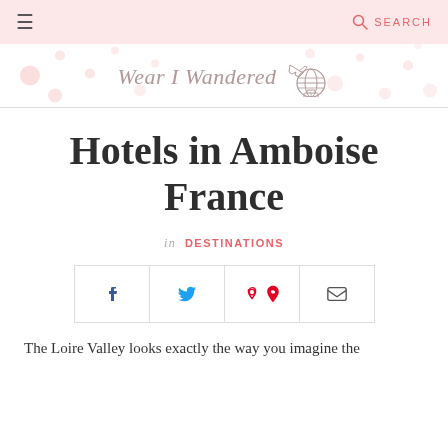≡  SEARCH
[Figure (logo): Wear I Wandered travel blog logo with cursive text and globe/plane icon, on a pink dotted background]
Hotels in Amboise France
in DESTINATIONS
[Figure (infographic): Social share bar with Facebook, Twitter, Pinterest, and Email icons]
The Loire Valley looks exactly the way you imagine the